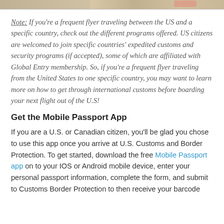[Figure (photo): Partial view of a photo at top of page showing what appears to be a passport or travel-related image with warm tan and peach tones]
Note: If you're a frequent flyer traveling between the US and a specific country, check out the different programs offered. US citizens are welcomed to join specific countries' expedited customs and security programs (if accepted), some of which are affiliated with Global Entry membership. So, if you're a frequent flyer traveling from the United States to one specific country, you may want to learn more on how to get through international customs before boarding your next flight out of the U.S!
Get the Mobile Passport App
If you are a U.S. or Canadian citizen, you'll be glad you chose to use this app once you arrive at U.S. Customs and Border Protection. To get started, download the free Mobile Passport app on to your IOS or Android mobile device, enter your personal passport information, complete the form, and submit to Customs Border Protection to then receive your barcode